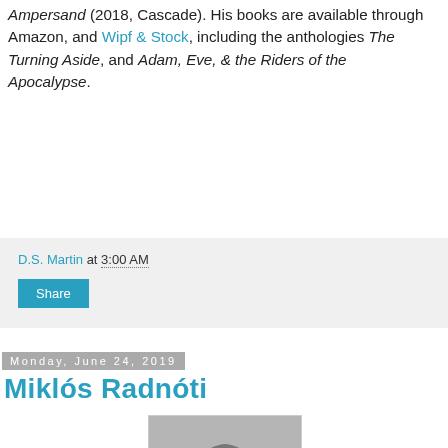Ampersand (2018, Cascade). His books are available through Amazon, and Wipf & Stock, including the anthologies The Turning Aside, and Adam, Eve, & the Riders of the Apocalypse.
D.S. Martin at 3:00 AM
Share
Monday, June 24, 2019
Miklós Radnóti
[Figure (photo): Black and white portrait photograph of Miklós Radnóti, a young man in profile facing right, wearing a light-colored jacket with an open collar.]